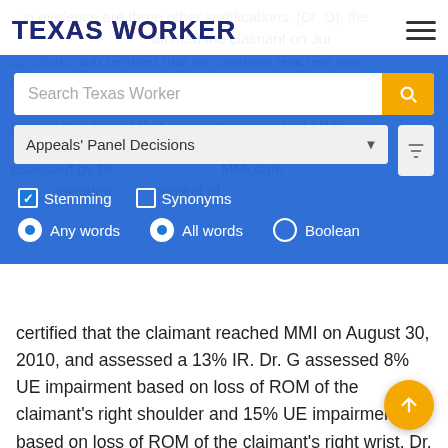Texas Worker
...in evidence are three other certifications. [Dr. D], the [...] examined the claimant on June 22, 2010, and certified that the claimant reached MMI on that date with a 4% IR. However, a precontested determination (as well as the parties' stipulation) that the claimant reached MMI [...] is not at issue, has become final. The 12/10 [...] assessed by Dr. [...] MMI date [...] included [...] percent of [...] Dr. G examined the claimant [...] August [...] 2010 [...]
certified that the claimant reached MMI on August 30, 2010, and assessed a 13% IR. Dr. G assessed 8% UE impairment based on loss of ROM of the claimant's right shoulder and 15% UE impairment based on loss of ROM of the claimant's right wrist. Dr. G assessed 2% UE impairment for loss of ROM for radial deviation and 3% UE impairment for loss of ROM for ulnar deviation.